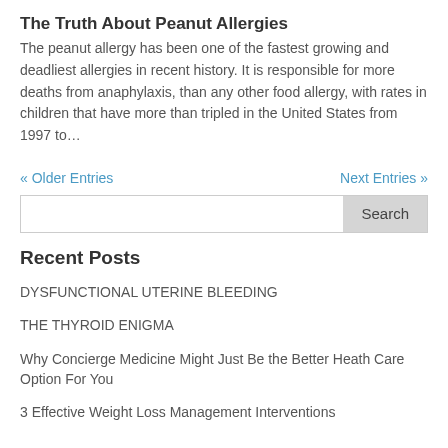The Truth About Peanut Allergies
The peanut allergy has been one of the fastest growing and deadliest allergies in recent history. It is responsible for more deaths from anaphylaxis, than any other food allergy, with rates in children that have more than tripled in the United States from 1997 to…
« Older Entries
Next Entries »
Recent Posts
DYSFUNCTIONAL UTERINE BLEEDING
THE THYROID ENIGMA
Why Concierge Medicine Might Just Be the Better Heath Care Option For You
3 Effective Weight Loss Management Interventions